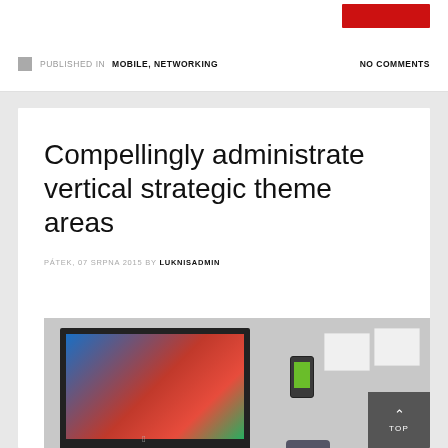PUBLISHED IN MOBILE, NETWORKING   NO COMMENTS
Compellingly administrate vertical strategic theme areas
PÁTEK, 07 SRPNA 2015 BY LUKNISADMIN
[Figure (photo): iMac desktop computer on a white desk with a mug, keyboard, and framed pictures on the wall in the background]